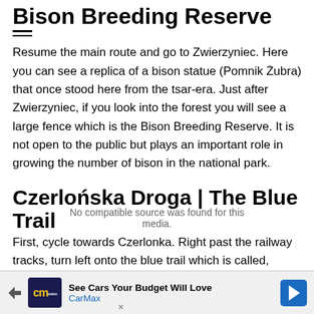Bison Breeding Reserve
Resume the main route and go to Zwierzyniec. Here you can see a replica of a bison statue (Pomnik Żubra) that once stood here from the tsar-era. Just after Zwierzyniec, if you look into the forest you will see a large fence which is the Bison Breeding Reserve. It is not open to the public but plays an important role in growing the number of bison in the national park.
Czerlońska Droga | The Blue Trail
First, cycle towards Czerlonka. Right past the railway tracks, turn left onto the blue trail which is called, “Czerlońska Droga.” This area offers the largest patch of coniferous forest on the Polish side of the forest. As a result, this is the main hangout for the Boreal Owl which often inhabits old coniferous trees.
[Figure (infographic): CarMax advertisement banner at the bottom: See Cars Your Budget Will Love, CarMax logo, navigation arrow icon]